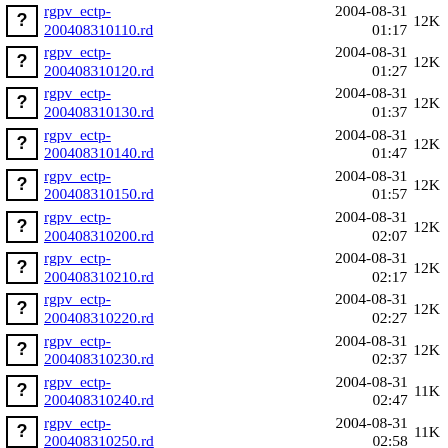rgpv_ectp-200408310110.rd  2004-08-31 01:17  12K
rgpv_ectp-200408310120.rd  2004-08-31 01:27  12K
rgpv_ectp-200408310130.rd  2004-08-31 01:37  12K
rgpv_ectp-200408310140.rd  2004-08-31 01:47  12K
rgpv_ectp-200408310150.rd  2004-08-31 01:57  12K
rgpv_ectp-200408310200.rd  2004-08-31 02:07  12K
rgpv_ectp-200408310210.rd  2004-08-31 02:17  12K
rgpv_ectp-200408310220.rd  2004-08-31 02:27  12K
rgpv_ectp-200408310230.rd  2004-08-31 02:37  12K
rgpv_ectp-200408310240.rd  2004-08-31 02:47  11K
rgpv_ectp-200408310250.rd  2004-08-31 02:58  11K
rgpv_ectp-200408310300.rd  2004-08-31 03:08  11K